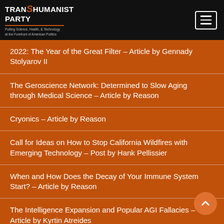TRANSHUMANIST PARTY — Putting Science, Health, & Technology at the Forefront of American Politics
2022: The Year of the Great Filter – Article by Gennady Stolyarov II
The Geroscience Network: Determined to Slow Aging through Medical Science – Article by Reason
Cryonics – Article by Reason
Call for Ideas on How to Stop California Wildfires with Emerging Technology – Post by Hank Pellissier
When and How Does the Decay of Your Immune System Start? – Article by Reason
The Intelligence Expansion and Popular AGI Fallacies – Article by Kyrtin Atreides